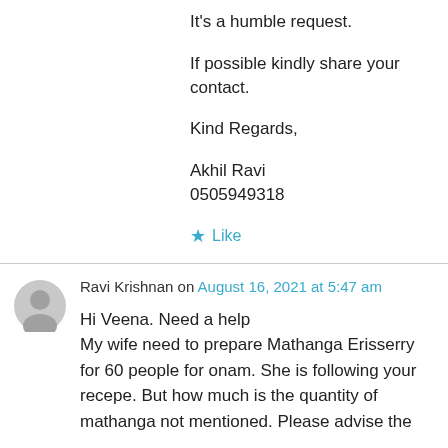It's a humble request.
If possible kindly share your contact.
Kind Regards,
Akhil Ravi
0505949318
★ Like
Ravi Krishnan on August 16, 2021 at 5:47 am
Hi Veena. Need a help
My wife need to prepare Mathanga Erisserry for 60 people for onam. She is following your recepe. But how much is the quantity of mathanga not mentioned. Please advise the